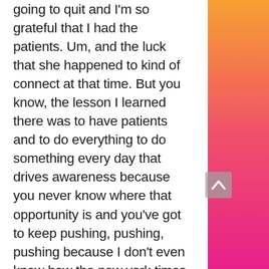going to quit and I'm so grateful that I had the patients. Um, and the luck that she happened to kind of connect at that time. But you know, the lesson I learned there was to have patients and to do everything to do something every day that drives awareness because you never know where that opportunity is and you've got to keep pushing, pushing, pushing because I don't even know how the new york times writer found out about Hatch, but I got to imagine that it's some part of the hustle and the day to day that got her there, that led to the first article that led to the first stylist coming. It all is a domino effect and you might not ever be able to trace back the steps, but, but you've got to keep going and make sure that you're doing something every day
[Figure (other): Orange to pink vertical gradient sidebar on the right side of the page, with a grey scroll-up arrow button overlaid near the bottom of the sidebar.]